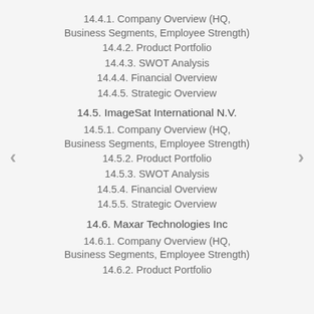14.4.1. Company Overview (HQ, Business Segments, Employee Strength)
14.4.2. Product Portfolio
14.4.3. SWOT Analysis
14.4.4. Financial Overview
14.4.5. Strategic Overview
14.5. ImageSat International N.V.
14.5.1. Company Overview (HQ, Business Segments, Employee Strength)
14.5.2. Product Portfolio
14.5.3. SWOT Analysis
14.5.4. Financial Overview
14.5.5. Strategic Overview
14.6. Maxar Technologies Inc
14.6.1. Company Overview (HQ, Business Segments, Employee Strength)
14.6.2. Product Portfolio